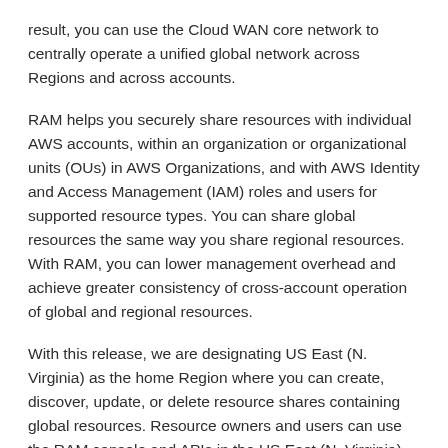result, you can use the Cloud WAN core network to centrally operate a unified global network across Regions and across accounts.
RAM helps you securely share resources with individual AWS accounts, within an organization or organizational units (OUs) in AWS Organizations, and with AWS Identity and Access Management (IAM) roles and users for supported resource types. You can share global resources the same way you share regional resources. With RAM, you can lower management overhead and achieve greater consistency of cross-account operation of global and regional resources.
With this release, we are designating US East (N. Virginia) as the home Region where you can create, discover, update, or delete resource shares containing global resources. Resource owners and users can use the RAM console and APIs in the US East (N. Virginia) Region to list, share and discover regional and global resources. Resource users can also discover and use shared Cloud WAN core networks directly through the Cloud WAN console and APIs.